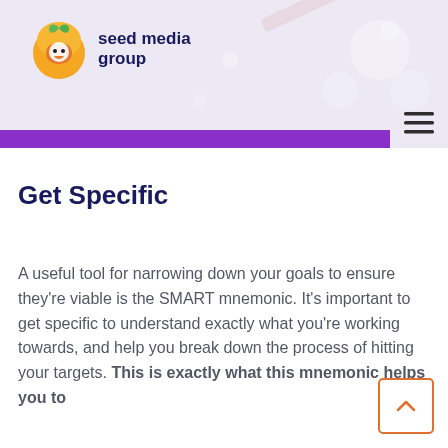[Figure (logo): Seed Media Group logo with orange circular icon and dark navy text]
Get Specific
A useful tool for narrowing down your goals to ensure they're viable is the SMART mnemonic. It's important to get specific to understand exactly what you're working towards, and help you break down the process of hitting your targets. This is exactly what this mnemonic helps you to